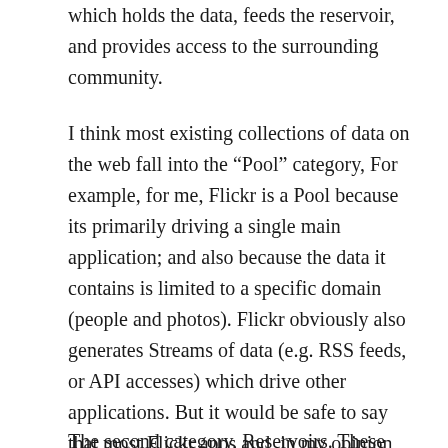which holds the data, feeds the reservoir, and provides access to the surrounding community.
I think most existing collections of data on the web fall into the “Pool” category, For example, for me, Flickr is a Pool because its primarily driving a single main application; and also because the data it contains is limited to a specific domain (people and photos). Flickr obviously also generates Streams of data (e.g. RSS feeds, or API accesses) which drive other applications. But it would be safe to say that most Flickr apps and, in my opinion, most Web 2.0 apps, are “Stream-oriented” in that they tend to tap into the data flows but don’t create their own pools (at least few that are permanently available).
The second category, Reservoirs. These are...